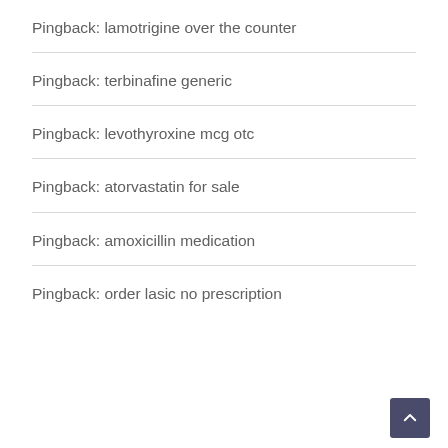Pingback: lamotrigine over the counter
Pingback: terbinafine generic
Pingback: levothyroxine mcg otc
Pingback: atorvastatin for sale
Pingback: amoxicillin medication
Pingback: order lasic no prescription